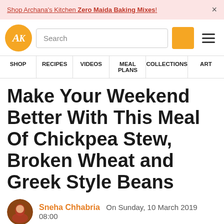Shop Archana's Kitchen Zero Maida Baking Mixes!
[Figure (logo): Archana's Kitchen logo - circular gold badge with AK initials, search bar, orange search button, hamburger menu]
SHOP  RECIPES  VIDEOS  MEAL PLANS  COLLECTIONS  ART
Make Your Weekend Better With This Meal Of Chickpea Stew, Broken Wheat and Greek Style Beans
Sneha Chhabria  On Sunday, 10 March 2019 08:00